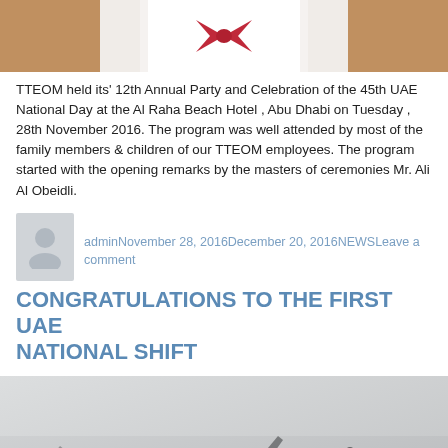[Figure (photo): Top portion of a photo showing a person in white clothing with a red bow tie or sash, with tan/beige background]
TTEOM held its' 12th Annual Party and Celebration of the 45th UAE National Day at the Al Raha Beach Hotel , Abu Dhabi on Tuesday , 28th November 2016. The program was well attended by most of the family members & children of our TTEOM employees. The program started with the opening remarks by the masters of ceremonies Mr. Ali Al Obeidli.
adminNovember 28, 2016December 20, 2016NEWSLeave a comment
CONGRATULATIONS TO THE FIRST UAE NATIONAL SHIFT
[Figure (photo): Aerial or top-down view of what appears to be aircraft or vehicles on a runway or tarmac, with gray tones]